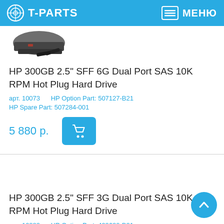T-PARTS  МЕНЮ
[Figure (photo): Partial image of a HP hard drive (2.5 inch SFF), dark gray/black drive with handle visible]
HP 300GB 2.5" SFF 6G Dual Port SAS 10K RPM Hot Plug Hard Drive
арт. 10073   HP Option Part: 507127-B21
HP Spare Part: 507284-001
5 880 р.
HP 300GB 2.5" SFF 3G Dual Port SAS 10K RPM Hot Plug Hard Drive
арт. 10080   HP Option Part: 492620-B21